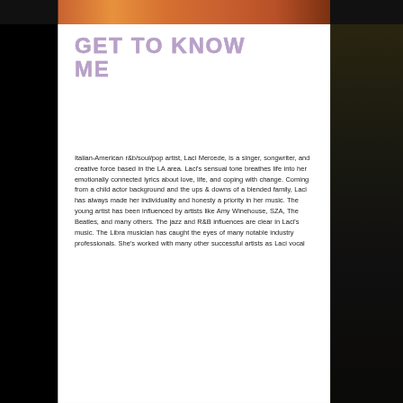[Figure (photo): Partial view of a warm-toned orange/red photo at the top of the page, showing what appears to be a person, cropped to a narrow horizontal bar]
GET TO KNOW ME
Italian-American r&b/soul/pop artist, Laci Mercede, is a singer, songwriter, and creative force based in the LA area. Laci's sensual tone breathes life into her emotionally connected lyrics about love, life, and coping with change. Coming from a child actor background and the ups & downs of a blended family, Laci has always made her individuality and honesty a priority in her music. The young artist has been influenced by artists like Amy Winehouse, SZA, The Beatles, and many others. The jazz and R&B influences are clear in Laci's music. The Libra musician has caught the eyes of many notable industry professionals. She's worked with many other successful artists as Laci vocal